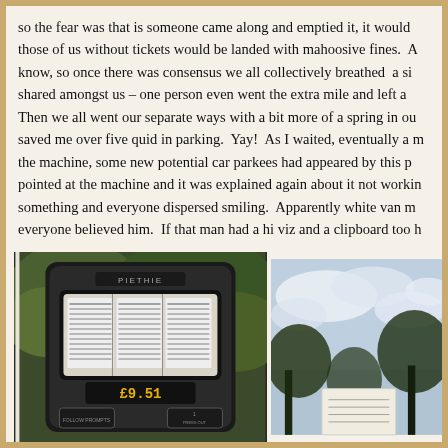so the fear was that is someone came along and emptied it, it would those of us without tickets would be landed with mahoosive fines. A know, so once there was consensus we all collectively breathed a si shared amongst us – one person even went the extra mile and left a Then we all went our separate ways with a bit more of a spring in ou saved me over five quid in parking. Yay! As I waited, eventually a m the machine, some new potential car parkees had appeared by this p pointed at the machine and it was explained again about it not workin something and everyone dispersed smiling. Apparently white van m everyone believed him. If that man had a hi viz and a clipboard too h
[Figure (photo): A dark-colored parking meter machine (PIETHIE brand) with a display panel showing rate information and a numeric display showing '£9.51'. Green foliage visible in background.]
[Figure (photo): A partially visible image showing sky with clouds and trees, with what appears to be a white paper notice in the lower portion.]